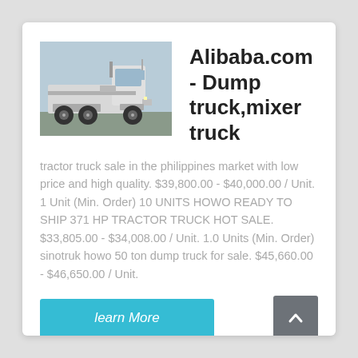[Figure (photo): Photo of a white HOWO tractor truck (cab-over, heavy-duty) parked outdoors.]
Alibaba.com - Dump truck,mixer truck
tractor truck sale in the philippines market with low price and high quality. $39,800.00 - $40,000.00 / Unit. 1 Unit (Min. Order) 10 UNITS HOWO READY TO SHIP 371 HP TRACTOR TRUCK HOT SALE. $33,805.00 - $34,008.00 / Unit. 1.0 Units (Min. Order) sinotruk howo 50 ton dump truck for sale. $45,660.00 - $46,650.00 / Unit.
learn More